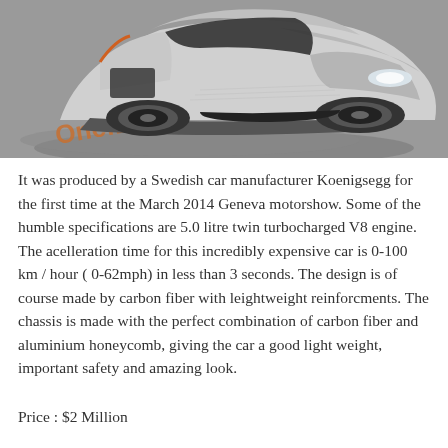[Figure (photo): A silver Koenigsegg One:1 supercar photographed from the front-left angle at the Geneva motorshow, displayed on a circular grey mat with 'One:1' text visible on the mat.]
It was produced by a Swedish car manufacturer Koenigsegg for the first time at the March 2014 Geneva motorshow. Some of the humble specifications are 5.0 litre twin turbocharged V8 engine. The acelleration time for this incredibly expensive car is 0-100 km / hour ( 0-62mph) in less than 3 seconds. The design is of course made by carbon fiber with leightweight reinforcments. The chassis is made with the perfect combination of carbon fiber and aluminium honeycomb, giving the car a good light weight, important safety and amazing look.
Price : $2 Million